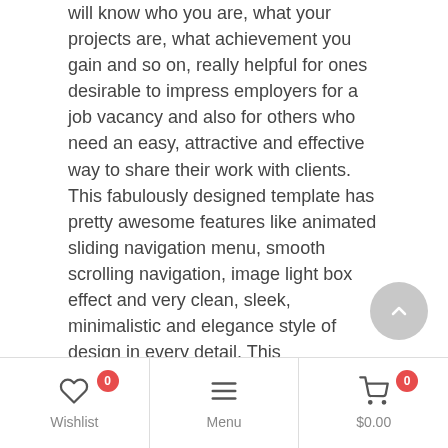will know who you are, what your projects are, what achievement you gain and so on, really helpful for ones desirable to impress employers for a job vacancy and also for others who need an easy, attractive and effective way to share their work with clients. This fabulously designed template has pretty awesome features like animated sliding navigation menu, smooth scrolling navigation, image light box effect and very clean, sleek, minimalistic and elegance style of design in every detail. This magnificently designed template is 100% responsive cross browser template entirely built in Bootstrap framework, HTML5, CSS3 and JQuery. Make it yours now by using it, downloading it and please share it.
TEMPLATE INFORMATION: